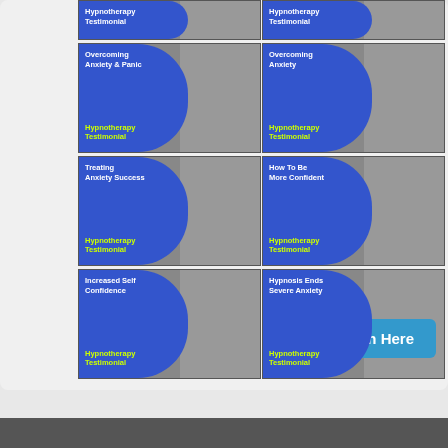[Figure (screenshot): Grid of 6 hypnotherapy video testimonial thumbnails. Each thumbnail has a blue rounded background on the left with white title text and yellow subtitle 'Hypnotherapy Testimonial', and a person's photo on the right. Topics: Overcoming Anxiety & Panic, Overcoming Anxiety, Treating Anxiety Successfully, How To Be More Confident, Increased Self Confidence, Hypnosis Ends Severe Anxiety.]
★ Watch Here